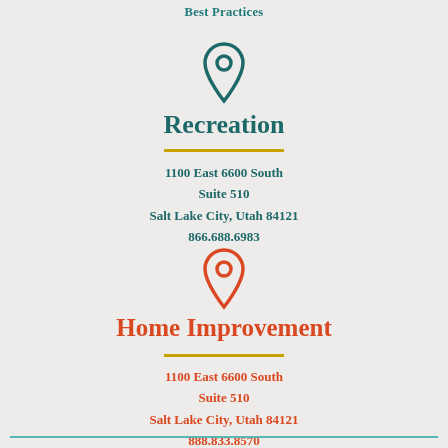Best Practices
[Figure (illustration): Teal map pin / location icon]
Recreation
1100 East 6600 South
Suite 510
Salt Lake City, Utah 84121
866.688.6983
[Figure (illustration): Orange/red map pin / location icon]
Home Improvement
1100 East 6600 South
Suite 510
Salt Lake City, Utah 84121
888.833.8570